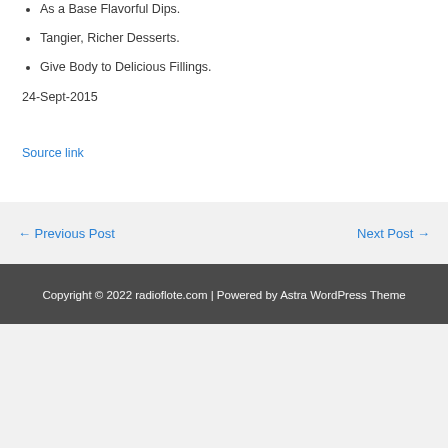As a Base Flavorful Dips.
Tangier, Richer Desserts.
Give Body to Delicious Fillings.
24-Sept-2015
Source link
← Previous Post
Next Post →
Copyright © 2022 radioflote.com | Powered by Astra WordPress Theme